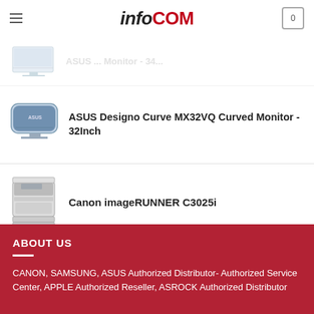infoCOM
[Figure (photo): ASUS curved monitor product image (faded/partially visible at top)]
ASUS ... Monitor - 34...
[Figure (photo): ASUS Designo Curve MX32VQ curved monitor product image]
ASUS Designo Curve MX32VQ Curved Monitor - 32Inch
[Figure (photo): Canon imageRUNNER C3025i printer product image]
Canon imageRUNNER C3025i
ABOUT US
CANON, SAMSUNG, ASUS Authorized Distributor- Authorized Service Center, APPLE Authorized Reseller, ASROCK Authorized Distributor